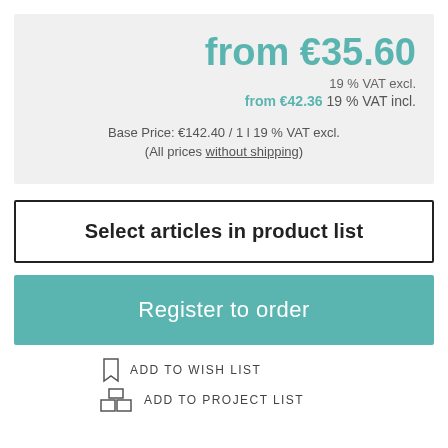from €35.60
19 % VAT excl.
from €42.36 19 % VAT incl.
Base Price: €142.40 / 1 l 19 % VAT excl.
(All prices without shipping)
Select articles in product list
Register to order
ADD TO WISH LIST
ADD TO PROJECT LIST